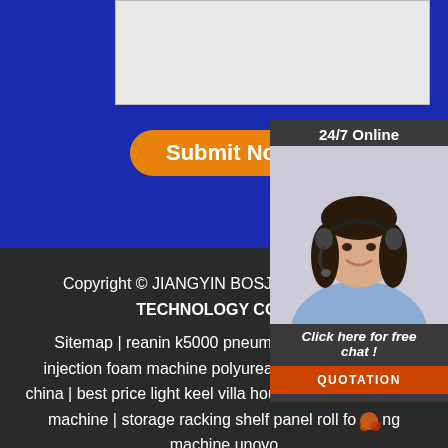[Figure (screenshot): Blue background contact form section with a text area input box and an orange 'Submit Now' rounded button]
[Figure (photo): 24/7 Online chat panel showing a woman with headset smiling, with 'Click here for free chat!' text and an orange QUOTATION button]
Copyright © JIANGYIN BOSJ SCIENCE AND TECHNOLOGY CO LTD
Sitemap | reanin k5000 pneumatic polyurethane injection foam machine polyurea sprayer salemade china | best price light keel villa house frame roll forming machine | storage racking shelf panel roll forming machine unovo